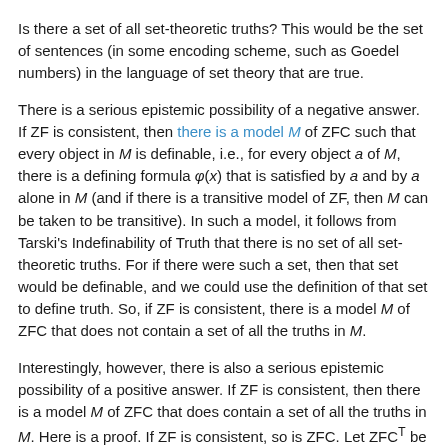Is there a set of all set-theoretic truths? This would be the set of sentences (in some encoding scheme, such as Goedel numbers) in the language of set theory that are true.
There is a serious epistemic possibility of a negative answer. If ZF is consistent, then there is a model M of ZFC such that every object in M is definable, i.e., for every object a of M, there is a defining formula φ(x) that is satisfied by a and by a alone in M (and if there is a transitive model of ZF, then M can be taken to be transitive). In such a model, it follows from Tarski's Indefinability of Truth that there is no set of all set-theoretic truths. For if there were such a set, then that set would be definable, and we could use the definition of that set to define truth. So, if ZF is consistent, there is a model M of ZFC that does not contain a set of all the truths in M.
Interestingly, however, there is also a serious epistemic possibility of a positive answer. If ZF is consistent, then there is a model M of ZFC that does contain a set of all the truths in M. Here is a proof. If ZF is consistent, so is ZFC. Let ZFC^T be a theory whose language is the language of set theory with a constant T, and whose axioms are...